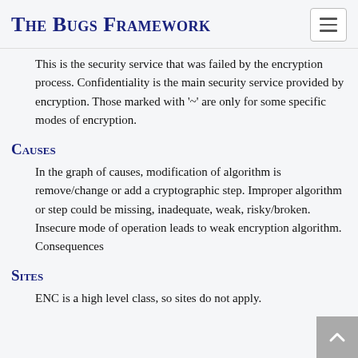The Bugs Framework
This is the security service that was failed by the encryption process. Confidentiality is the main security service provided by encryption. Those marked with '~' are only for some specific modes of encryption.
Causes
In the graph of causes, modification of algorithm is remove/change or add a cryptographic step. Improper algorithm or step could be missing, inadequate, weak, risky/broken. Insecure mode of operation leads to weak encryption algorithm. Consequences
Sites
ENC is a high level class, so sites do not apply.